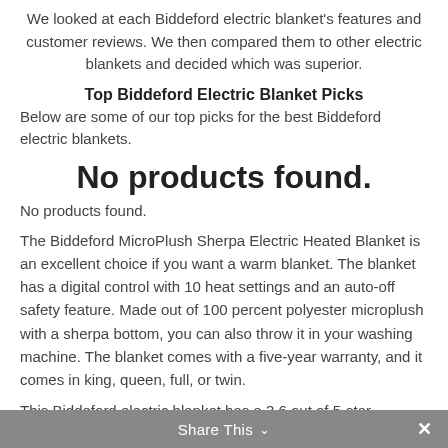We looked at each Biddeford electric blanket's features and customer reviews. We then compared them to other electric blankets and decided which was superior.
Top Biddeford Electric Blanket Picks
Below are some of our top picks for the best Biddeford electric blankets.
No products found.
No products found.
The Biddeford MicroPlush Sherpa Electric Heated Blanket is an excellent choice if you want a warm blanket. The blanket has a digital control with 10 heat settings and an auto-off safety feature. Made out of 100 percent polyester microplush with a sherpa bottom, you can also throw it in your washing machine. The blanket comes with a five-year warranty, and it comes in king, queen, full, or twin.
This Biddeford electric blanket has a 3.6 out of 5-star
Share This ∨  ✕